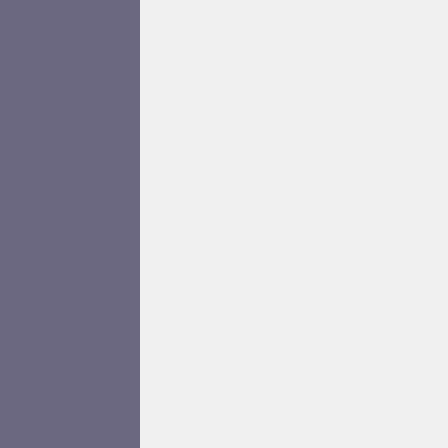5] [ 9.987172] b43ssb0:0: firmware: failed to load b43/ucode15.fw (-2) [ 9.987265] b43ssb0:0: